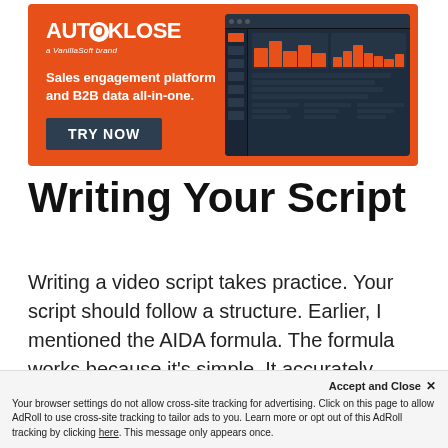[Figure (screenshot): Autoklose advertisement banner — orange background with logo, tagline 'Sales engagement platform and B2B data all-in-one.' and 'TRY NOW' button, with a dark dashboard screenshot on the right.]
Writing Your Script
Writing a video script takes practice. Your script should follow a structure. Earlier, I mentioned the AIDA formula. The formula works because it's simple. It accurately describes the steps a customer goes through
Accept and Close ×
Your browser settings do not allow cross-site tracking for advertising. Click on this page to allow AdRoll to use cross-site tracking to tailor ads to you. Learn more or opt out of this AdRoll tracking by clicking here. This message only appears once.